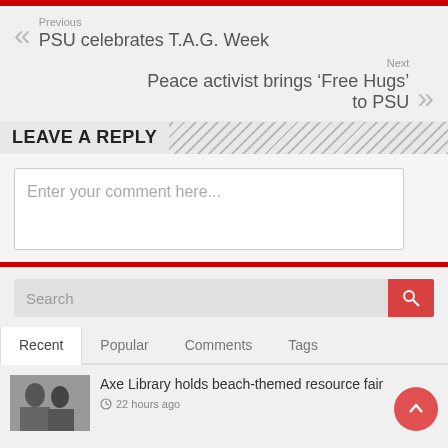Previous
PSU celebrates T.A.G. Week
Next
Peace activist brings 'Free Hugs' to PSU
LEAVE A REPLY
Enter your comment here...
Search
Recent	Popular	Comments	Tags
Axe Library holds beach-themed resource fair
22 hours ago